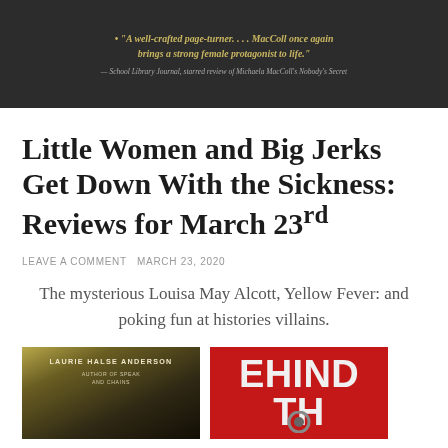[Figure (photo): Book cover partial with dark background showing a yellow italic quote and gray attribution text for a book reviewed by School Library Journal.]
Little Women and Big Jerks Get Down With the Sickness: Reviews for March 23rd
LEAVE A COMMENT MARCH 23, 2020
The mysterious Louisa May Alcott, Yellow Fever: and poking fun at histories villains.
[Figure (photo): Left bottom: Book cover by Laurie Halse Anderson, author of Speak and Chains, dark olive/gold tones.]
[Figure (photo): Right bottom: Red book cover showing the partial text 'EHIND TH' in large white letters with a gear/mechanical element.]